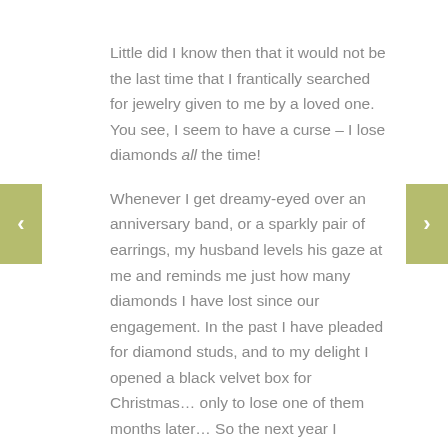Little did I know then that it would not be the last time that I frantically searched for jewelry given to me by a loved one. You see, I seem to have a curse – I lose diamonds all the time!

Whenever I get dreamy-eyed over an anniversary band, or a sparkly pair of earrings, my husband levels his gaze at me and reminds me just how many diamonds I have lost since our engagement. In the past I have pleaded for diamond studs, and to my delight I opened a black velvet box for Christmas… only to lose one of them months later… So the next year I scoured the holiday ads for a good deal on diamonds to replace the earring I lost,